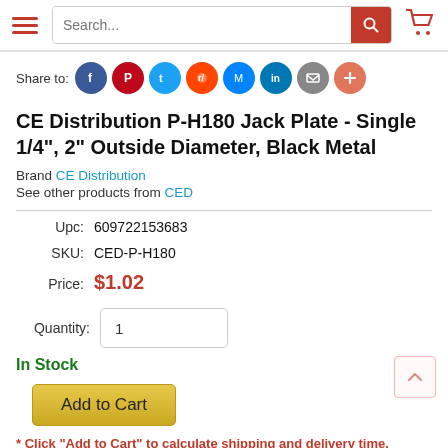Search...
Share to:
CE Distribution P-H180 Jack Plate - Single 1/4", 2" Outside Diameter, Black Metal
Brand CE Distribution
See other products from CED
| Label | Value |
| --- | --- |
| Upc: | 609722153683 |
| SKU: | CED-P-H180 |
| Price: | $1.02 |
Quantity: 1
In Stock
Add to Cart
* Click "Add to Cart" to calculate shipping and delivery time.